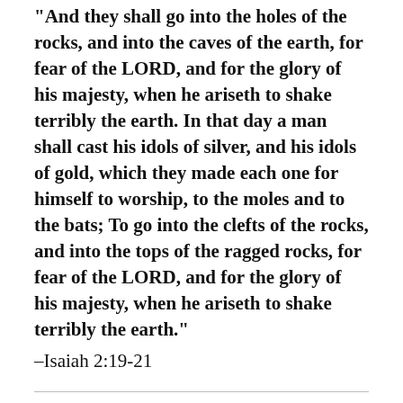“And they shall go into the holes of the rocks, and into the caves of the earth, for fear of the LORD, and for the glory of his majesty, when he ariseth to shake terribly the earth. In that day a man shall cast his idols of silver, and his idols of gold, which they made each one for himself to worship, to the moles and to the bats; To go into the clefts of the rocks, and into the tops of the ragged rocks, for fear of the LORD, and for the glory of his majesty, when he ariseth to shake terribly the earth.”
–Isaiah 2:19-21
Heaven?
Are You Being Used by Your Partner?